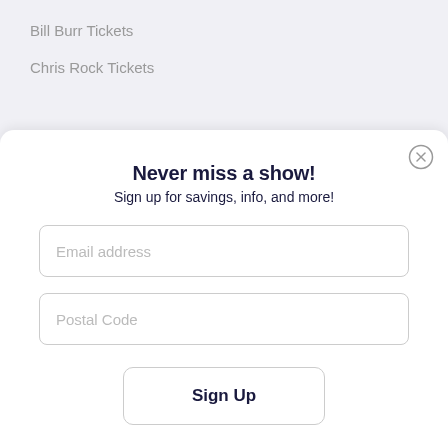Bill Burr Tickets
Chris Rock Tickets
Never miss a show!
Sign up for savings, info, and more!
Email address
Postal Code
Sign Up